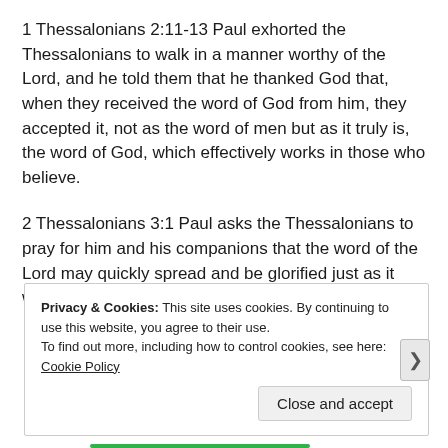1 Thessalonians 2:11-13 Paul exhorted the Thessalonians to walk in a manner worthy of the Lord, and he told them that he thanked God that, when they received the word of God from him, they accepted it, not as the word of men but as it truly is, the word of God, which effectively works in those who believe.
2 Thessalonians 3:1 Paul asks the Thessalonians to pray for him and his companions that the word of the Lord may quickly spread and be glorified just as it was amongst them.
Privacy & Cookies: This site uses cookies. By continuing to use this website, you agree to their use. To find out more, including how to control cookies, see here: Cookie Policy
Close and accept